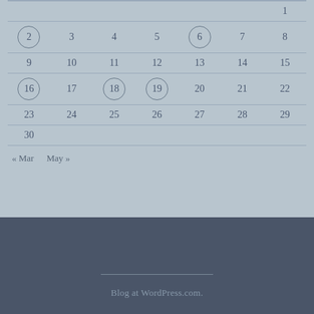| Sun | Mon | Tue | Wed | Thu | Fri | Sat |
| --- | --- | --- | --- | --- | --- | --- |
|  |  |  |  |  |  | 1 |
| 2 | 3 | 4 | 5 | 6 | 7 | 8 |
| 9 | 10 | 11 | 12 | 13 | 14 | 15 |
| 16 | 17 | 18 | 19 | 20 | 21 | 22 |
| 23 | 24 | 25 | 26 | 27 | 28 | 29 |
| 30 |  |  |  |  |  |  |
« Mar   May »
Blog at WordPress.com.